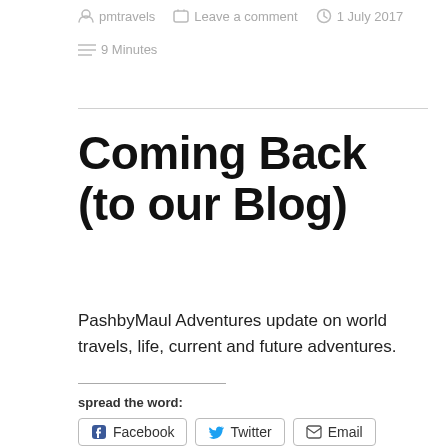pmtravels   Leave a comment   1 July 2017   9 Minutes
Coming Back (to our Blog)
PashbyMaul Adventures update on world travels, life, current and future adventures.
spread the word:
Facebook   Twitter   Email
Like